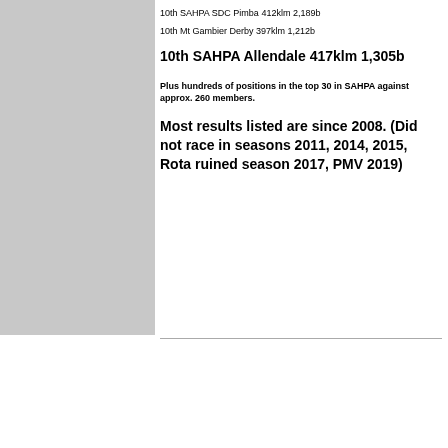[Figure (photo): Gray rectangle placeholder image on the left side of the page]
10th SAHPA SDC Pimba 412klm 2,189b
10th Mt Gambier Derby 397klm 1,212b
10th SAHPA Allendale 417klm 1,305b
Plus hundreds of positions in the top 30 in SAHPA against approx. 260 members.
Most results listed are since 2008. (Did not race in seasons 2011, 2014, 2015, Rota ruined season 2017, PMV 2019)